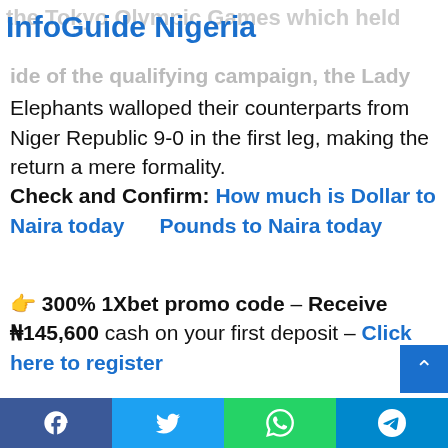InfoGuide Nigeria
the Tokyo Olympic Games which held
ide of the qualifying campaign, the Lady Elephants walloped their counterparts from Niger Republic 9-0 in the first leg, making the return a mere formality.
Check and Confirm: How much is Dollar to Naira today      Pounds to Naira today
👉 300% 1Xbet promo code – Receive ₦145,600 cash on your first deposit – Click here to register
Facebook  Twitter  WhatsApp  Telegram